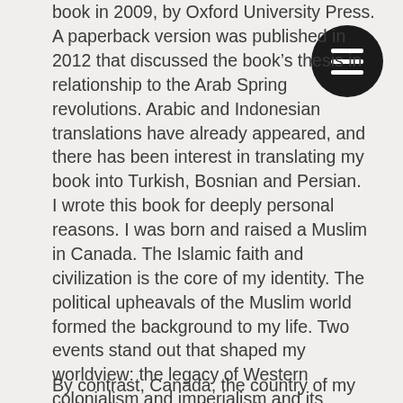book in 2009, by Oxford University Press. A paperback version was published in 2012 that discussed the book's thesis in relationship to the Arab Spring revolutions. Arabic and Indonesian translations have already appeared, and there has been interest in translating my book into Turkish, Bosnian and Persian.
I wrote this book for deeply personal reasons. I was born and raised a Muslim in Canada. The Islamic faith and civilization is the core of my identity. The political upheavals of the Muslim world formed the background to my life. Two events stand out that shaped my worldview: the legacy of Western colonialism and imperialism and its connection to the Israel-Palestine conflict, and the 1979 Islamic Revolution of Iran and the rise of Islamist politics. As a result, growing up the relationship between religion and politics was always discussed in my household.
By contrast, Canada, the country of my birth, where I completed all of my education remains a very secular